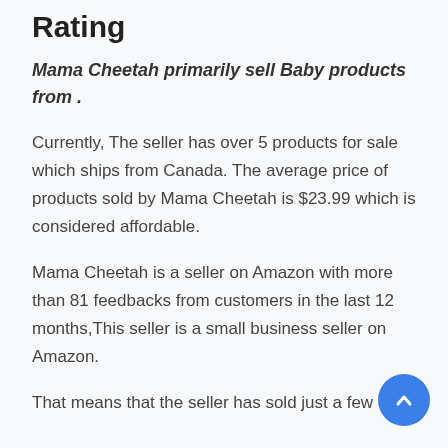Rating
Mama Cheetah primarily sell Baby products from .
Currently, The seller has over 5 products for sale which ships from Canada. The average price of products sold by Mama Cheetah is $23.99 which is considered affordable.
Mama Cheetah is a seller on Amazon with more than 81 feedbacks from customers in the last 12 months,This seller is a small business seller on Amazon.
That means that the seller has sold just a few items...